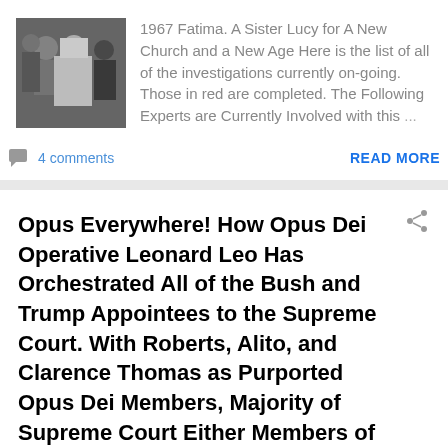[Figure (photo): Black and white photo of people at what appears to be a formal event, including a nun in white habit]
1967 Fatima. A Sister Lucy for A New Church and a New Age Here is the list of all of the investigations currently on-going. Those in red are completed. The Following Experts are Currently Involved with this ...
4 comments
READ MORE
Opus Everywhere! How Opus Dei Operative Leonard Leo Has Orchestrated All of the Bush and Trump Appointees to the Supreme Court. With Roberts, Alito, and Clarence Thomas as Purported Opus Dei Members, Majority of Supreme Court Either Members of or Recruited by Opus Dei.